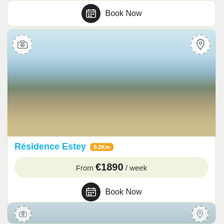Book Now
[Figure (photo): Interior photo of a modern apartment bedroom with large window overlooking tropical ocean view, wicker chairs and a wooden desk with plant]
Résidence Estey 0.2Km
From €1890 / week
Book Now
[Figure (photo): Partial view of another listing photo at the bottom of the page]